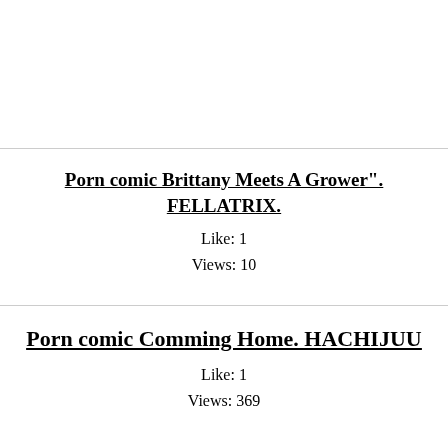Porn comic Brittany Meets A Grower”. FELLATRIX.
Like: 1
Views: 10
Porn comic Comming Home. HACHIJUU
Like: 1
Views: 369